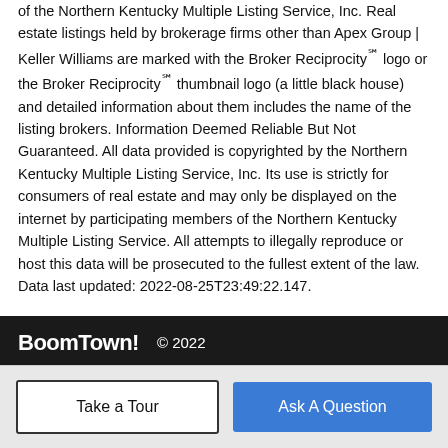of the Northern Kentucky Multiple Listing Service, Inc. Real estate listings held by brokerage firms other than Apex Group | Keller Williams are marked with the Broker Reciprocity℠ logo or the Broker Reciprocity℠ thumbnail logo (a little black house) and detailed information about them includes the name of the listing brokers. Information Deemed Reliable But Not Guaranteed. All data provided is copyrighted by the Northern Kentucky Multiple Listing Service, Inc. Its use is strictly for consumers of real estate and may only be displayed on the internet by participating members of the Northern Kentucky Multiple Listing Service. All attempts to illegally reproduce or host this data will be prosecuted to the fullest extent of the law. Data last updated: 2022-08-25T23:49:22.147.
BoomTown! © 2022 | Terms of Use | Privacy Policy | Accessibility | DMCA | Listings Sitemap
Take a Tour
Ask A Question